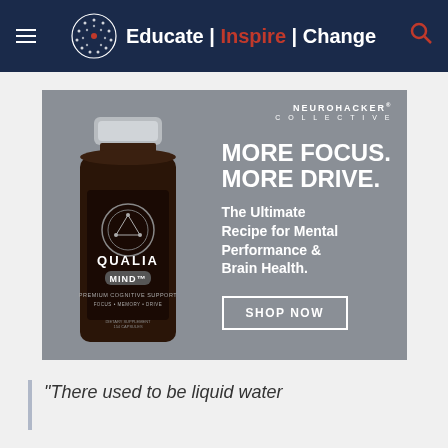Educate | Inspire | Change
[Figure (infographic): Qualia Mind supplement advertisement by Neurohacker Collective. Shows a dark amber supplement bottle labeled QUALIA MIND Premium Cognitive Support. Text reads: MORE FOCUS. MORE DRIVE. The Ultimate Recipe for Mental Performance & Brain Health. SHOP NOW button.]
“There used to be liquid water